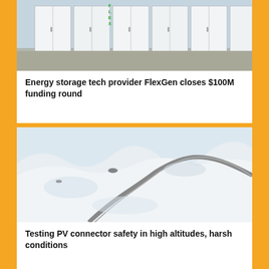[Figure (photo): White battery storage units with FLEXGEN logo outdoors]
Energy storage tech provider FlexGen closes $100M funding round
[Figure (photo): Aerial view of a snowy mountain landscape with a winding road]
Testing PV connector safety in high altitudes, harsh conditions